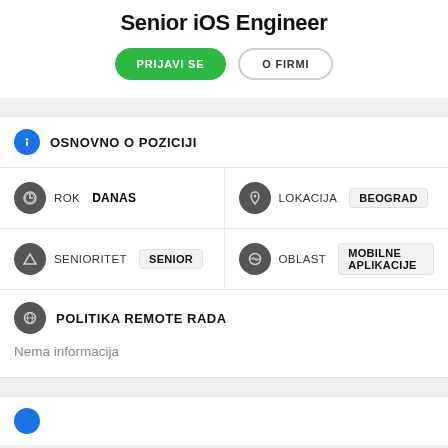Senior iOS Engineer
PRIJAVI SE | O FIRMI
OSNOVNO O POZICIJI
ROK DANAS
LOKACIJA BEOGRAD
SENIORITET SENIOR
OBLAST MOBILNE APLIKACIJE
POLITIKA REMOTE RADA
Nema informacija